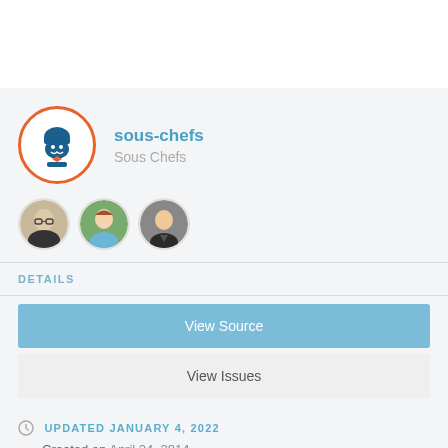[Figure (logo): sous-chefs group logo: chef face with orange circular border]
sous-chefs
Sous Chefs
[Figure (photo): Three circular user avatar photos in a row]
DETAILS
View Source
View Issues
UPDATED JANUARY 4, 2022
Created on April 24, 2014